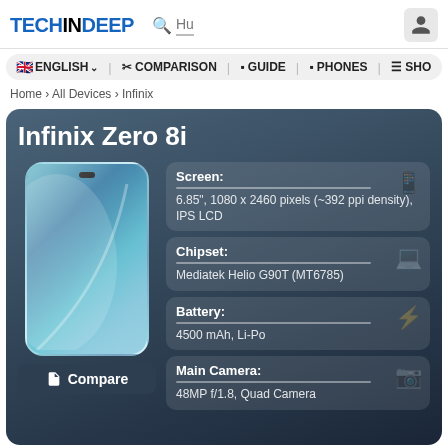TECHINDEEP
🇬🇧 ENGLISH ✓  ✂ COMPARISON  ▪ GUIDE  ▪ PHONES  ≡ SHO
Home › All Devices › Infinix
Infinix Zero 8i
Screen: 6.85", 1080 x 2460 pixels (~392 ppi density), IPS LCD
Chipset: Mediatek Helio G90T (MT6785)
Battery: 4500 mAh, Li-Po
Main Camera: 48MP f/1.8, Quad Camera